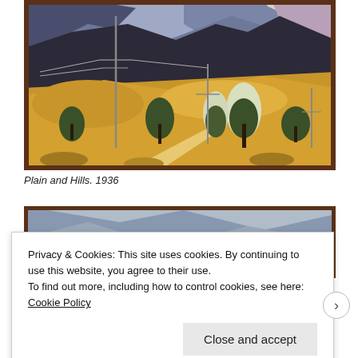[Figure (photo): Painting titled 'Plain and Hills. 1936' showing a landscape with golden hills, mountains in the background, conifer trees, and utility poles. The scene has a stylized, modernist quality with blue-purple mountain peaks and warm ochre tones.]
Plain and Hills. 1936
[Figure (photo): Partial view of another painting showing blue and grey abstract landscape forms, partially obscured by cookie consent overlay.]
Privacy & Cookies: This site uses cookies. By continuing to use this website, you agree to their use.
To find out more, including how to control cookies, see here: Cookie Policy
Close and accept